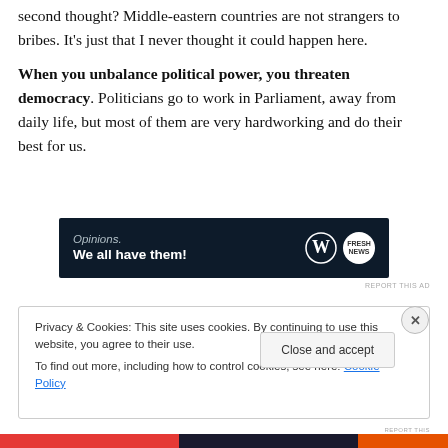second thought?  Middle-eastern countries are not strangers to bribes.  It's just that I never thought it could happen here.
When you unbalance political power, you threaten democracy.  Politicians go to work in Parliament, away from daily life, but most of them are very hardworking and do their best for us.
[Figure (other): Advertisement banner with dark navy background reading 'Opinions. We all have them!' with WordPress and Fresh News logos]
Privacy & Cookies: This site uses cookies. By continuing to use this website, you agree to their use.
To find out more, including how to control cookies, see here: Cookie Policy
Close and accept